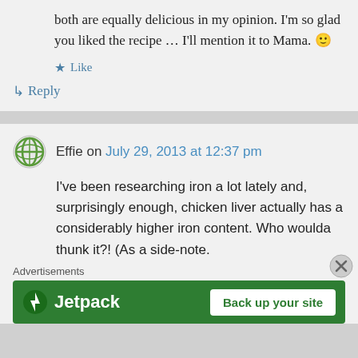both are equally delicious in my opinion. I'm so glad you liked the recipe … I'll mention it to Mama. 🙂
★ Like
↳ Reply
Effie on July 29, 2013 at 12:37 pm
I've been researching iron a lot lately and, surprisingly enough, chicken liver actually has a considerably higher iron content. Who woulda thunk it?! (As a side-note.
Advertisements
[Figure (other): Jetpack advertisement banner with green background showing Jetpack logo and 'Back up your site' button]